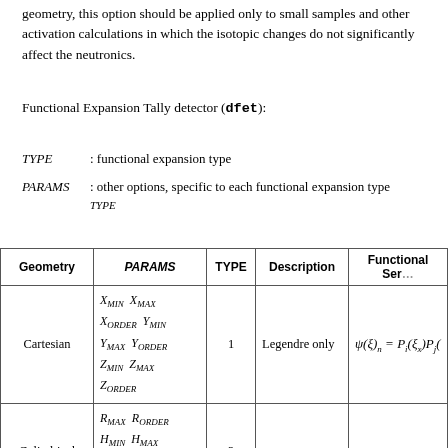geometry, this option should be applied only to small samples and other activation calculations in which the isotopic changes do not significantly affect the neutronics.
Functional Expansion Tally detector (dfet):
TYPE : functional expansion type
PARAMS TYPE : other options, specific to each functional expansion type
| Geometry | PARAMS | TYPE | Description | Functional Series |
| --- | --- | --- | --- | --- |
| Cartesian | X_MIN X_MAX
X_ORDER Y_MIN
Y_MAX Y_ORDER
Z_MIN Z_MAX
Z_ORDER | 1 | Legendre only | ψ(ξ)_n = P_i(ξ_x)P_j( |
| Cylindrical | R_MAX R_ORDER
H_MIN H_MAX
H_ORDER
H_ORIENTATION | 2 | .. | .. |